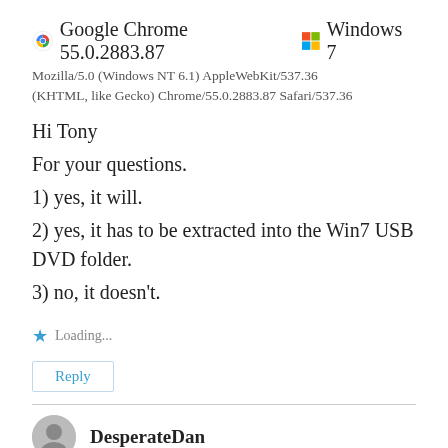Google Chrome 55.0.2883.87  Windows 7
Mozilla/5.0 (Windows NT 6.1) AppleWebKit/537.36 (KHTML, like Gecko) Chrome/55.0.2883.87 Safari/537.36
Hi Tony
For your questions.
1) yes, it will.
2) yes, it has to be extracted into the Win7 USB DVD folder.
3) no, it doesn't.
Loading...
Reply
DesperateDan